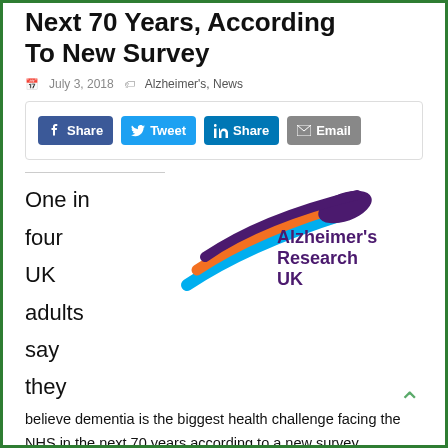Next 70 Years, According To New Survey
July 3, 2018  Alzheimer's, News
[Figure (screenshot): Social share buttons: Facebook Share, Tweet, LinkedIn Share, Email]
One in four UK adults say they believe dementia is the biggest health challenge facing the NHS in the next 70 years according to a new survey commissioned by Alzheimer's Research UK, the UK's leading dementia research charity.
[Figure (logo): Alzheimer's Research UK logo with swoosh graphic in orange, red/purple, and blue colors]
The YouGov poll asked participants to consider the